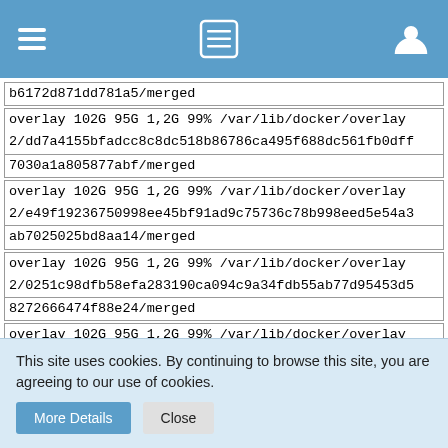[navigation bar with hamburger menu, list icon, user icon]
b6172d871dd781a5/merged
overlay 102G 95G 1,2G 99% /var/lib/docker/overlay2/dd7a4155bfadcc8c8dc518b86786ca495f688dc561fb0dff7030a1a805877abf/merged
overlay 102G 95G 1,2G 99% /var/lib/docker/overlay2/e49f19236750998ee45bf91ad9c75736c78b998eed5e54a3ab7025025bd8aa14/merged
overlay 102G 95G 1,2G 99% /var/lib/docker/overlay2/0251c98dfb58efa283190ca094c9a34fdb55ab77d95453d58272666474f88e24/merged
overlay 102G 95G 1,2G 99% /var/lib/docker/overlay2/636dddd7f52dc4cdd83caecf5dc29ac3be653220ad8824b481c28c6b05f48279/merged
overlay 102G 95G 1,2G 99% /var/lib/docker/overlay2/6ee94ec482117109551a73521ba4b3b60ab3288f944b7072
This site uses cookies. By continuing to browse this site, you are agreeing to our use of cookies.